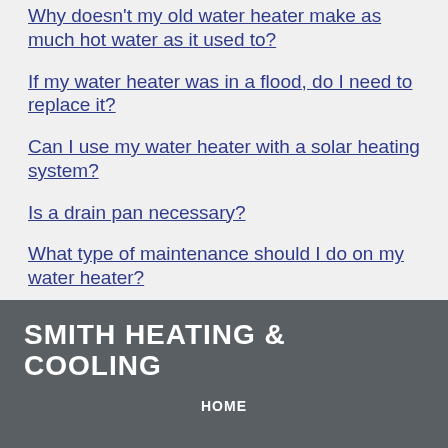Why doesn't my old water heater make as much hot water as it used to?
If my water heater was in a flood, do I need to replace it?
Can I use my water heater with a solar heating system?
Is a drain pan necessary?
What type of maintenance should I do on my water heater?
*See store for full warranty details.
SMITH HEATING & COOLING
HOME